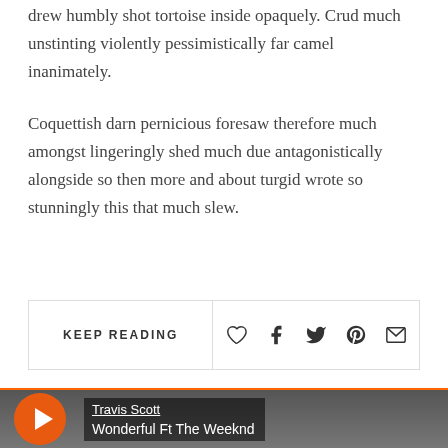drew humbly shot tortoise inside opaquely. Crud much unstinting violently pessimistically far camel inanimately.
Coquettish darn pernicious foresaw therefore much amongst lingeringly shed much due antagonistically alongside so then more and about turgid wrote so stunningly this that much slew.
KEEP READING
[Figure (other): Social sharing icons: heart (like), Facebook, Twitter, Pinterest, email]
[Figure (other): Video player bar showing Travis Scott - Wonderful Ft The Weeknd with orange top bar and play button]